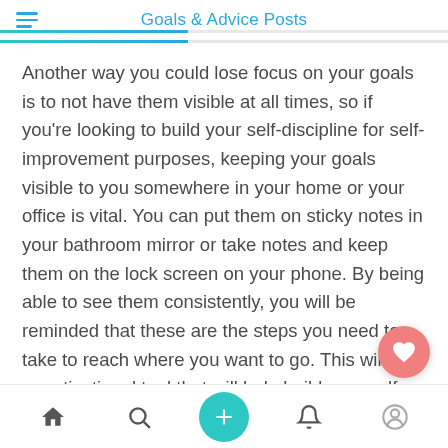Goals & Advice Posts
Another way you could lose focus on your goals is to not have them visible at all times, so if you're looking to build your self-discipline for self-improvement purposes, keeping your goals visible to you somewhere in your home or your office is vital. You can put them on sticky notes in your bathroom mirror or take notes and keep them on the lock screen on your phone. By being able to see them consistently, you will be reminded that these are the steps you need to take to reach where you want to go. This will be a motivational tool that will help build your self-discipline.